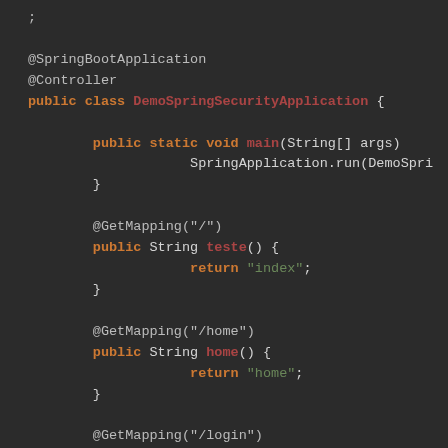[Figure (screenshot): A dark-themed code editor screenshot showing Java Spring Boot code with annotations @SpringBootApplication, @Controller, public class DemoSpringSecurityApplication, main method, and GetMapping methods for '/', '/home', '/login'.]